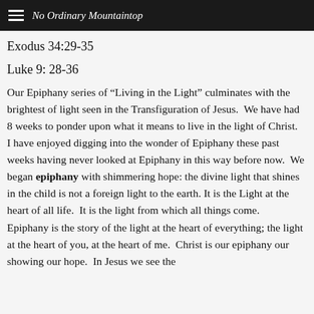No Ordinary Mountaintop
Exodus 34:29-35
Luke 9: 28-36
Our Epiphany series of “Living in the Light” culminates with the brightest of light seen in the Transfiguration of Jesus.  We have had 8 weeks to ponder upon what it means to live in the light of Christ.  I have enjoyed digging into the wonder of Epiphany these past weeks having never looked at Epiphany in this way before now.  We began epiphany with shimmering hope: the divine light that shines in the child is not a foreign light to the earth. It is the Light at the heart of all life.  It is the light from which all things come.  Epiphany is the story of the light at the heart of everything; the light at the heart of you, at the heart of me.  Christ is our epiphany our showing our hope.  In Jesus we see the